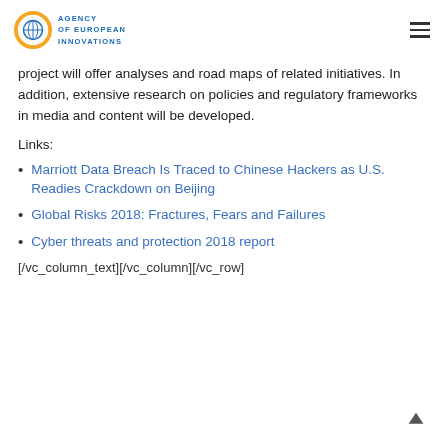Agency of European Innovations
project will offer analyses and road maps of related initiatives. In addition, extensive research on policies and regulatory frameworks in media and content will be developed.
Links:
Marriott Data Breach Is Traced to Chinese Hackers as U.S. Readies Crackdown on Beijing
Global Risks 2018: Fractures, Fears and Failures
Cyber threats and protection 2018 report
[/vc_column_text][/vc_column][/vc_row]